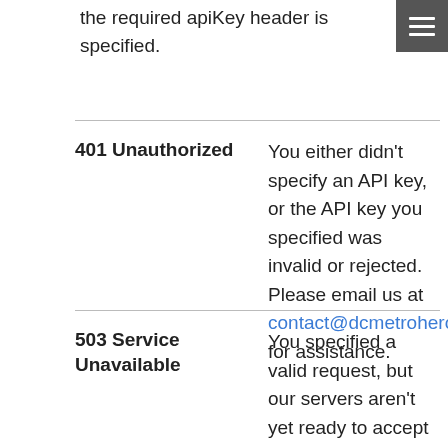the required apiKey header is specified.
| Code | Description |
| --- | --- |
| 401 Unauthorized | You either didn't specify an API key, or the API key you specified was invalid or rejected. Please email us at contact@dcmetrohero.com for assistance. |
| 503 Service Unavailable | You specified a valid request, but our servers aren't yet ready to accept it. This can happen if our servers have restarted recently, or if there is otherwise a problem with our servers. Please try again soon. Alternatively, you may have exceeded our rate... |